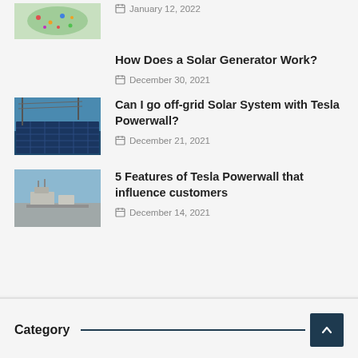[Figure (photo): Map thumbnail showing geographic pins/markers]
January 12, 2022
How Does a Solar Generator Work?
December 30, 2021
[Figure (photo): Solar panels with power lines against blue sky]
Can I go off-grid Solar System with Tesla Powerwall?
December 21, 2021
[Figure (photo): Industrial rooftop with equipment, aerial view]
5 Features of Tesla Powerwall that influence customers
December 14, 2021
Category